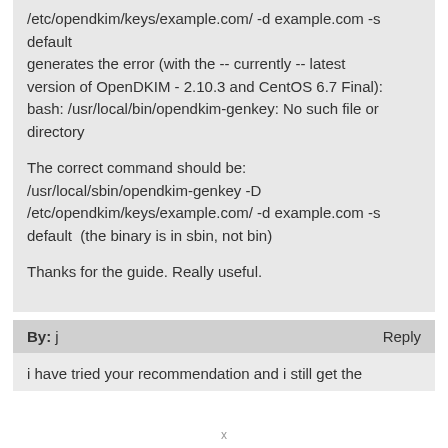/etc/opendkim/keys/example.com/ -d example.com -s default generates the error (with the -- currently -- latest version of OpenDKIM - 2.10.3 and CentOS 6.7 Final): bash: /usr/local/bin/opendkim-genkey: No such file or directory

The correct command should be: /usr/local/sbin/opendkim-genkey -D /etc/opendkim/keys/example.com/ -d example.com -s default  (the binary is in sbin, not bin)

Thanks for the guide. Really useful.
By: j
Reply
i have tried your recommendation and i still get the